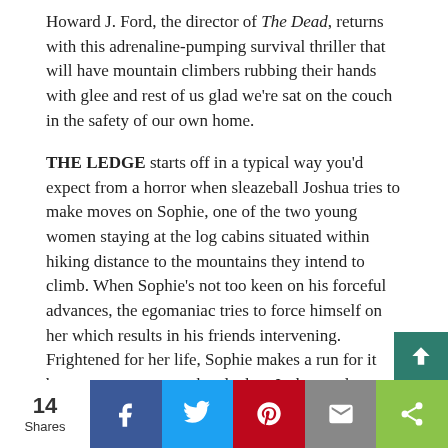Howard J. Ford, the director of The Dead, returns with this adrenaline-pumping survival thriller that will have mountain climbers rubbing their hands with glee and rest of us glad we're sat on the couch in the safety of our own home.
THE LEDGE starts off in a typical way you'd expect from a horror when sleazeball Joshua tries to make moves on Sophie, one of the two young women staying at the log cabins situated within hiking distance to the mountains they intend to climb. When Sophie's not too keen on his forceful advances, the egomaniac tries to force himself on her which results in his friends intervening. Frightened for her life, Sophie makes a run for it but matters come to a head when Joshua and co. finally get their hands on her, with disastrous consequences. Awoken from her sleep, Sophie's friend Kelly walks into the woods to find out
14 Shares | Facebook | Twitter | Pinterest | Email | Share